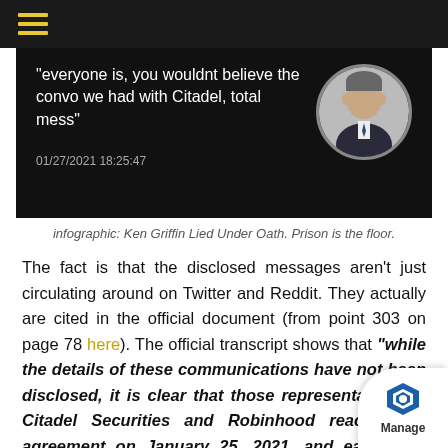[Figure (screenshot): Dark-background screenshot showing a quote '"everyone is, you wouldnt believe the convo we had with Citadel, total mess"' with timestamp 01/27/2021 18:25:47 and a circular portrait photo of a man in a suit]
infographic: Ken Griffin Lied Under Oath. Prison is the floor.
The fact is that the disclosed messages aren't just circulating around on Twitter and Reddit. They actually are cited in the official document (from point 303 on page 78 here). The official transcript shows that "while the details of these communications have not been disclosed, it is clear that those representatives of Citadel Securities and Robinhood reached an agreement on January 25, 2021, and each took affirmative steps in futherance of the illicit scheme"
Furthermore, the transcript of the House Comm...